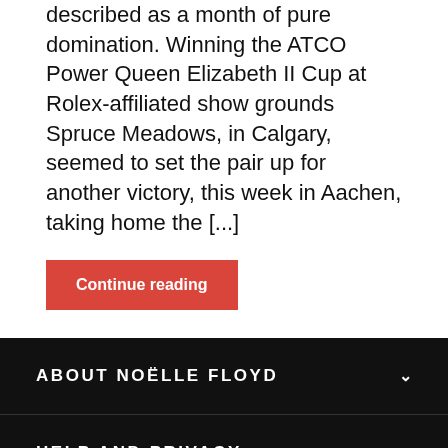described as a month of pure domination. Winning the ATCO Power Queen Elizabeth II Cup at Rolex-affiliated show grounds Spruce Meadows, in Calgary, seemed to set the pair up for another victory, this week in Aachen, taking home the [...]
Continue reading
ABOUT NOËLLE FLOYD
HELP AND PRIVACY
CONNECT WITH US